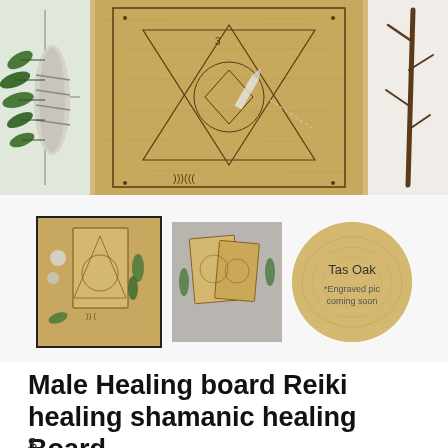[Figure (photo): Product listing page showing a Male Healing Board Reiki healing shamanic healing board. Top section shows a collage: left panel with sage bundle and leaves, center panel showing a bamboo/wood board engraved with sacred geometry, right panel with a twig/branch. Below are three thumbnails: first (selected with border) shows the board with crystals and herbs, second shows similar arrangement, third is a circular Tasmanian Oak wood sample labeled 'Tas Oak *Engraved pic coming soon'. Product title and partial price shown at bottom.]
Male Healing board Reiki healing shamanic healing Board
$